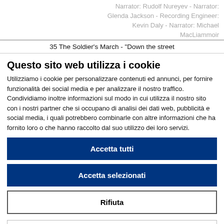Narrator: Rudolf Nureyev - Narrator: Glenda Jackson - Recording Engineer: Kevin Daly - Narrator: Michael MacLiammoir
35 The Soldier's March - "Down the street
Questo sito web utilizza i cookie
Utilizziamo i cookie per personalizzare contenuti ed annunci, per fornire funzionalità dei social media e per analizzare il nostro traffico. Condividiamo inoltre informazioni sul modo in cui utilizza il nostro sito con i nostri partner che si occupano di analisi dei dati web, pubblicità e social media, i quali potrebbero combinarle con altre informazioni che ha fornito loro o che hanno raccolto dal suo utilizzo dei loro servizi.
Accetta tutti
Accetta selezionati
Rifiuta
Necessari  Preferenze  Statistiche  Marketing  Mostra dettagli